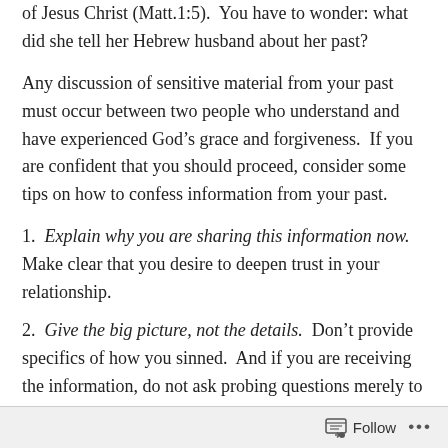of Jesus Christ (Matt.1:5).  You have to wonder: what did she tell her Hebrew husband about her past?
Any discussion of sensitive material from your past must occur between two people who understand and have experienced God’s grace and forgiveness.  If you are confident that you should proceed, consider some tips on how to confess information from your past.
1.  Explain why you are sharing this information now.  Make clear that you desire to deepen trust in your relationship.
2.  Give the big picture, not the details.  Don’t provide specifics of how you sinned.  And if you are receiving the information, do not ask probing questions merely to feed
Follow ...